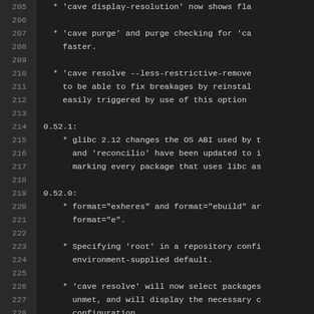Code viewer showing lines 205-232 of a changelog file with version entries for 0.52.1 and 0.52.0, listing changes to cave commands and package management features.